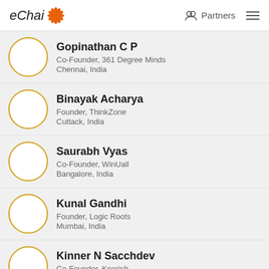eChai | Partners
Gopinathan C P | Co-Founder, 361 Degree Minds | Chennai, India
Binayak Acharya | Founder, ThinkZone | Cuttack, India
Saurabh Vyas | Co-Founder, WinUall | Bangalore, India
Kunal Gandhi | Founder, Logic Roots | Mumbai, India
Kinner N Sacchdev | Co-Founder, Knorish | Delhi-NCR, India
Sharad Bansal | Co-Founder, Tinkerly